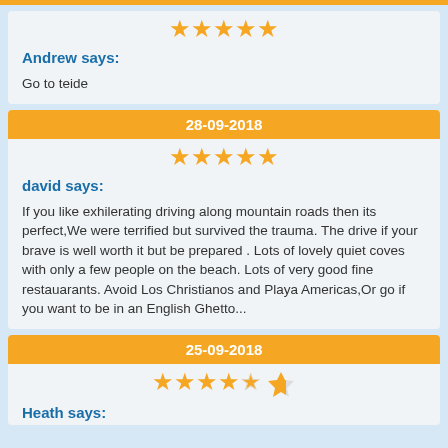[Figure (other): 5 orange stars rating]
Andrew says:
Go to teide
28-09-2018
[Figure (other): 5 orange stars rating]
david says:
If you like exhilerating driving along mountain roads then its perfect,We were terrified but survived the trauma. The drive if your brave is well worth it but be prepared . Lots of lovely quiet coves with only a few people on the beach. Lots of very good fine restauarants. Avoid Los Christianos and Playa Americas,Or go if you want to be in an English Ghetto...
25-09-2018
[Figure (other): 4.5 orange stars rating]
Heath says: